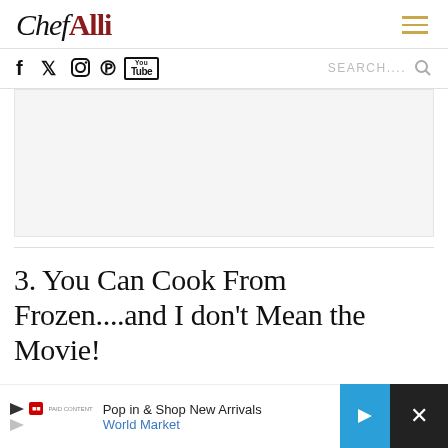Chef Alli
f (facebook) (twitter) (instagram) (pinterest) (youtube) SEARCH....
[Figure (other): Advertisement/banner area (light gray rectangle placeholder)]
3. You Can Cook From Frozen....and I don't Mean the Movie!
[Figure (other): Bottom ad banner: Pop in & Shop New Arrivals - World Market, with blue arrow icon and close button]